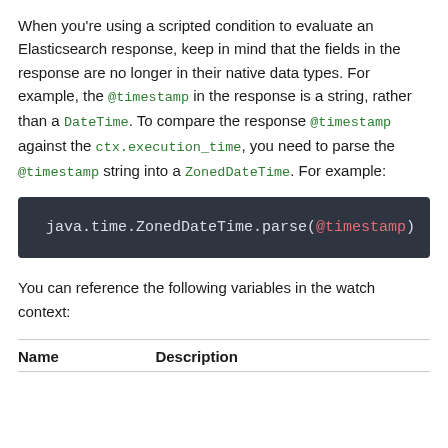When you're using a scripted condition to evaluate an Elasticsearch response, keep in mind that the fields in the response are no longer in their native data types. For example, the @timestamp in the response is a string, rather than a DateTime. To compare the response @timestamp against the ctx.execution_time, you need to parse the @timestamp string into a ZonedDateTime. For example:
[Figure (screenshot): Dark code block showing: java.time.ZonedDateTime.parse(@timestamp)]
You can reference the following variables in the watch context:
| Name | Description |
| --- | --- |